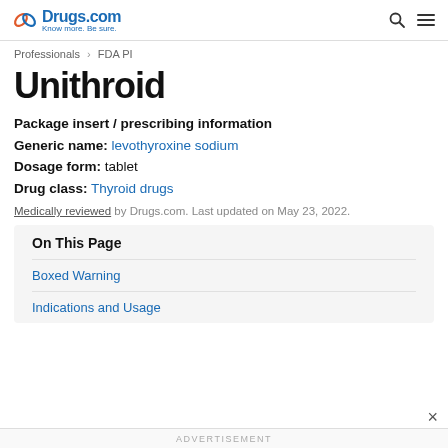Drugs.com Know more. Be sure.
Professionals > FDA PI
Unithroid
Package insert / prescribing information
Generic name: levothyroxine sodium
Dosage form: tablet
Drug class: Thyroid drugs
Medically reviewed by Drugs.com. Last updated on May 23, 2022.
On This Page
Boxed Warning
Indications and Usage
ADVERTISEMENT